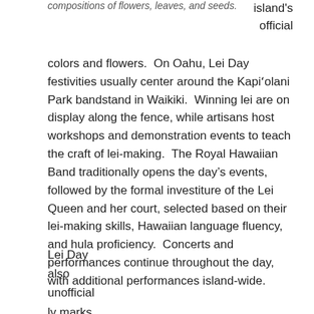compositions of flowers, leaves, and seeds.
island's official
colors and flowers.  On Oahu, Lei Day festivities usually center around the Kapiʻolani Park bandstand in Waikiki.  Winning lei are on display along the fence, while artisans host workshops and demonstration events to teach the craft of lei-making.  The Royal Hawaiian Band traditionally opens the day’s events, followed by the formal investiture of the Lei Queen and her court, selected based on their lei-making skills, Hawaiian language fluency, and hula proficiency.  Concerts and performances continue throughout the day, with additional performances island-wide.
Lei Day
also
unofficial
ly marks